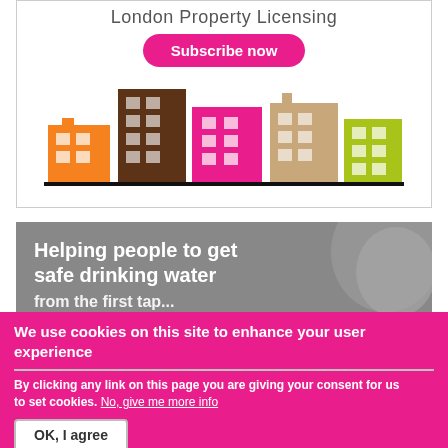[Figure (illustration): London Property Licensing advertisement box with subscribe button and colorful building icons]
[Figure (photo): Photo with text overlay: Helping people to get safe drinking water - partial image of water tap or pipe]
We use cookies on this site to enhance your user experience
By clicking any link on this page you are giving your consent for us to set cookies. No, give me more info
OK, I agree